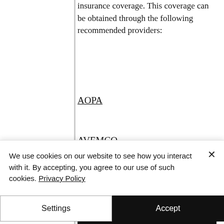insurance coverage. This coverage can be obtained through the following recommended providers:
AOPA
AVEMCO
[Figure (infographic): Black banner with bold white uppercase text reading 'LET'S GET YOU STARTED!' and subtext 'Ready for your dreams to take']
We use cookies on our website to see how you interact with it. By accepting, you agree to our use of such cookies. Privacy Policy
Settings
Accept